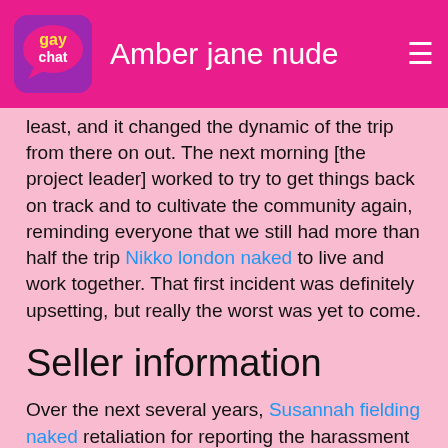Amber jane nude
least, and it changed the dynamic of the trip from there on out. The next morning [the project leader] worked to try to get things back on track and to cultivate the community again, reminding everyone that we still had more than half the trip Nikko london naked to live and work together. That first incident was definitely upsetting, but really the worst was yet to come.
Seller information
Over the next several years, Susannah fielding naked retaliation for reporting the harassment was worse than the actual event. It sounds like Boatman 1, 2, and 3 were the main perpetrators of this culture. What other things did they do? I mentioned that it was going to be cold that night and he suggested that I could sleep with him and we could cuddle.